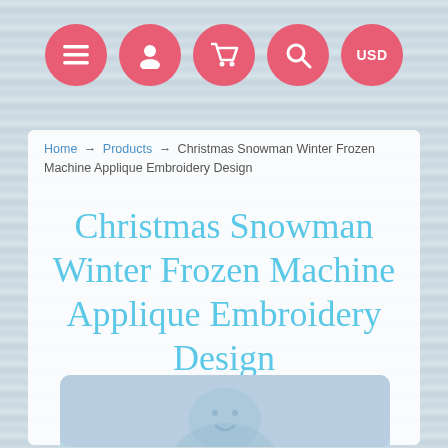[Figure (screenshot): Navigation bar with 5 pink circular icon buttons: hamburger menu, user profile, shopping cart, search, and USD currency selector]
Home → Products → Christmas Snowman Winter Frozen Machine Applique Embroidery Design
Christmas Snowman Winter Frozen Machine Applique Embroidery Design
[Figure (photo): Light blue product image placeholder showing a faint snowman silhouette outline]